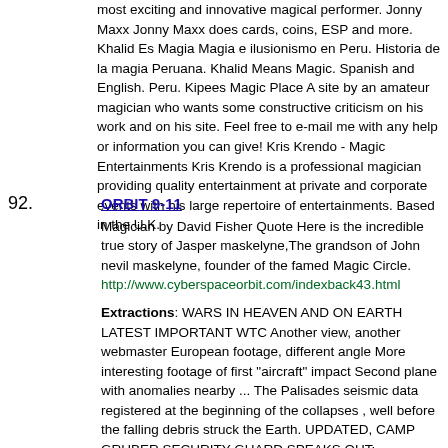most exciting and innovative magical performer. Jonny Maxx Jonny Maxx does cards, coins, ESP and more. Khalid Es Magia Magia e ilusionismo en Peru. Historia de la magia Peruana. Khalid Means Magic. Spanish and English. Peru. Kipees Magic Place A site by an amateur magician who wants some constructive criticism on his work and on his site. Feel free to e-mail me with any help or information you can give! Kris Krendo - Magic Entertainments Kris Krendo is a professional magician providing quality entertainment at private and corporate events with his large repertoire of entertainments. Based in the U.K.
92. ORBIT 9-11
Magician by David Fisher Quote Here is the incredible true story of Jasper maskelyne,The grandson of John nevil maskelyne, founder of the famed Magic Circle.
http://www.cyberspaceorbit.com/indexback43.html

Extractions: WARS IN HEAVEN AND ON EARTH LATEST IMPORTANT WTC Another view, another webmaster European footage, different angle More interesting footage of first "aircraft" impact Second plane with anomalies nearby ... The Palisades seismic data registered at the beginning of the collapses , well before the falling debris struck the Earth. UPDATED, CAMP GRUBER SECURITY GUARD SPEAKS OUT: ALLEGED: Air Traffic Control Recording of 9/11 Flight 93 ARCHIVES UPDATED COMMAND CENTER COMMENCED ON 9-11 THE WTC TOWERS COMMENTS ANNEX NEW ANALYSIS OF WTC